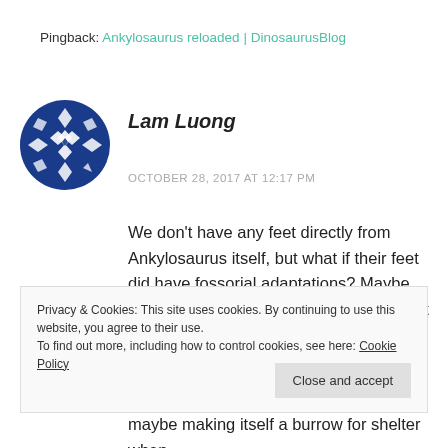Pingback: Ankylosaurus reloaded | DinosaurusBlog
[Figure (illustration): Blue geometric avatar icon with diamond pattern for user Lam Luong]
Lam Luong
OCTOBER 28, 2017 AT 12:17 PM
We don't have any feet directly from Ankylosaurus itself, but what if their feet did have fossorial adaptations? Maybe not entirely fossorial, but perhaps at least more so compared to other ankylosaurs. Its armor plates
Privacy & Cookies: This site uses cookies. By continuing to use this website, you agree to their use.
To find out more, including how to control cookies, see here: Cookie Policy
maybe making itself a burrow for shelter when